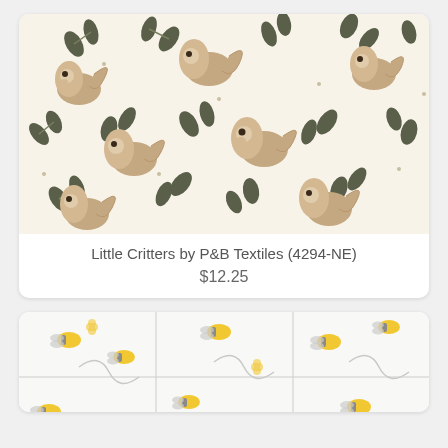[Figure (illustration): Fabric pattern with cartoon squirrels and dark green leaves on a cream/ivory background. Squirrels are in tan/beige tones in various curled poses scattered throughout.]
Little Critters by P&B Textiles (4294-NE)
$12.25
[Figure (illustration): Fabric pattern with yellow and gray bees and small flowers/clovers on a white/light background arranged in a repeating tile grid pattern.]